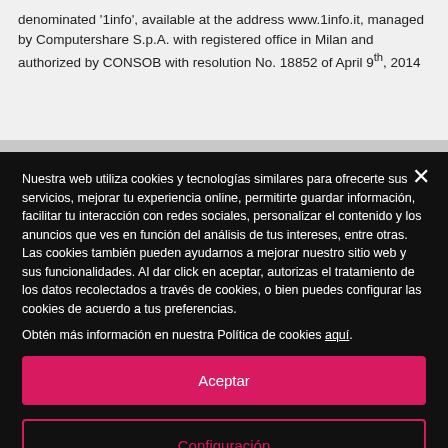denominated 'linfo', available at the address www.1info.it, managed by Computershare S.p.A. with registered office in Milan and authorized by CONSOB with resolution No. 18852 of April 9th, 2014
Nuestra web utiliza cookies y tecnologías similares para ofrecerte sus servicios, mejorar tu experiencia online, permitirte guardar información, facilitar tu interacción con redes sociales, personalizar el contenido y los anuncios que ves en función del análisis de tus intereses, entre otras. Las cookies también pueden ayudarnos a mejorar nuestro sitio web y sus funcionalidades. Al dar click en aceptar, autorizas el tratamiento de los datos recolectados a través de cookies, o bien puedes configurar las cookies de acuerdo a tus preferencias.
Obtén más información en nuestra Política de cookies aquí.
Aceptar
Configuración